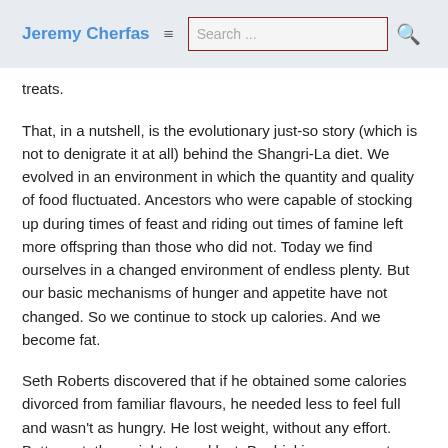Jeremy Cherfas  ≡  Search ...
treats.
That, in a nutshell, is the evolutionary just-so story (which is not to denigrate it at all) behind the Shangri-La diet. We evolved in an environment in which the quantity and quality of food fluctuated. Ancestors who were capable of stocking up during times of feast and riding out times of famine left more offspring than those who did not. Today we find ourselves in a changed environment of endless plenty. But our basic mechanisms of hunger and appetite have not changed. So we continue to stock up calories. And we become fat.
Seth Roberts discovered that if he obtained some calories divorced from familiar flavours, he needed less to feel full and wasn't as hungry. He lost weight, without any effort. Better yet, the weight stayed lost. By drinking sugar water, or swallowing flavourless oils, with no real food (strictly speaking, flavours) for an hour either side of the "empty" calories, he fooled his body into